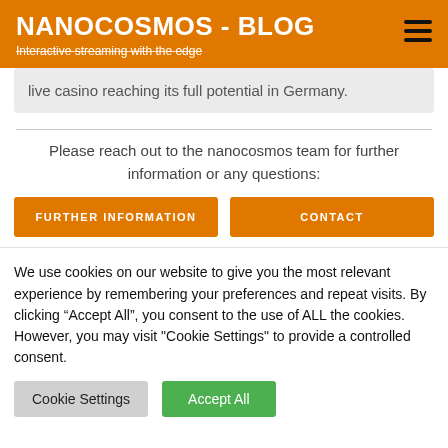NANOCOSMOS - BLOG
Interactive streaming with the edge
live casino reaching its full potential in Germany.
Please reach out to the nanocosmos team for further information or any questions:
FURTHER INFORMATION
CONTACT
We use cookies on our website to give you the most relevant experience by remembering your preferences and repeat visits. By clicking “Accept All”, you consent to the use of ALL the cookies. However, you may visit "Cookie Settings" to provide a controlled consent.
Cookie Settings
Accept All